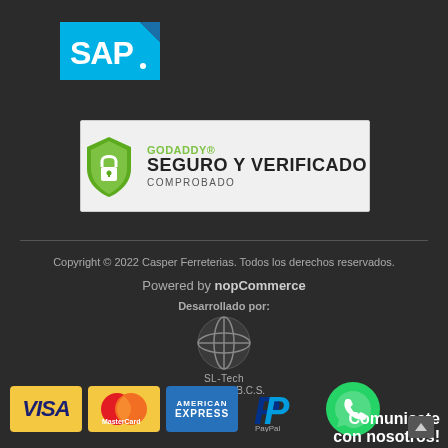[Figure (logo): SAP logo — white SAP text on blue/teal angular shield shape]
[Figure (logo): GoDaddy Seguro y Verificado badge — green shield lock icon on white background with text GODADDY® SEGURO Y VERIFICADO COMPROBADO]
Copyright © 2022 Casper Ferreterias. Todos los derechos reservados.
Powered by nopCommerce
Desarrollado por:
[Figure (logo): SL-Tech logo — dark sphere with geometric lines, text SL-Tech, Los Cabos, B.C.S.]
[Figure (logo): Payment method logos: VISA (blue on yellow), MasterCard (overlapping red and orange circles), American Express (blue card), PayPal (P logo), WhatsApp (green circle phone icon)]
Comunicate con nosotros!